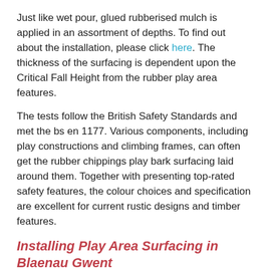Just like wet pour, glued rubberised mulch is applied in an assortment of depths. To find out about the installation, please click here. The thickness of the surfacing is dependent upon the Critical Fall Height from the rubber play area features.
The tests follow the British Safety Standards and met the bs en 1177. Various components, including play constructions and climbing frames, can often get the rubber chippings play bark surfacing laid around them. Together with presenting top-rated safety features, the colour choices and specification are excellent for current rustic designs and timber features.
Installing Play Area Surfacing in Blaenau Gwent
Rubber bonded shred safety surfacing has a considerable advantage over loose fill, and that is its ability to be applied right on your lawn and without edging. It is suitable for surfaces that get muddy and waterlogged while in rainy weather and is wire free.
Due to its versatile specification, the glued rubber chippings bark can is appliable around pre-existing apparatus and features. We do not have to install any groundwork, so we are prepared to offer